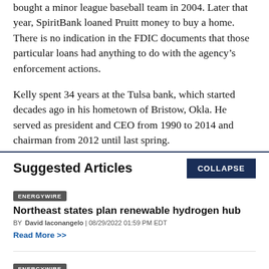bought a minor league baseball team in 2004. Later that year, SpiritBank loaned Pruitt money to buy a home. There is no indication in the FDIC documents that those particular loans had anything to do with the agency's enforcement actions.

Kelly spent 34 years at the Tulsa bank, which started decades ago in his hometown of Bristow, Okla. He served as president and CEO from 1990 to 2014 and chairman from 2012 until last spring.
Suggested Articles
COLLAPSE
ENERGYWIRE
Northeast states plan renewable hydrogen hub
BY David Iaconangelo | 08/29/2022 01:59 PM EDT
Read More >>
ENERGYWIRE
Trouble on pipeline's path hits home for Manchin